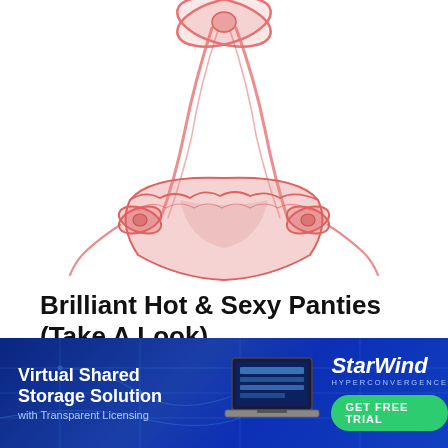[Figure (illustration): Illustration of red/pink lacy panties with bow ribbons, drawn in a sketch style with translucent fabric and multiple decorative bows]
Brilliant Hot & Sexy Panties (Take A Look)
Panties | Sponsored
[Figure (infographic): StarWind Hyperconvergence advertisement banner with blue circuit-board background, laptop graphic, text 'Virtual Shared Storage Solution with Transparent Licensing', StarWind logo, and green GET FREE TRIAL button]